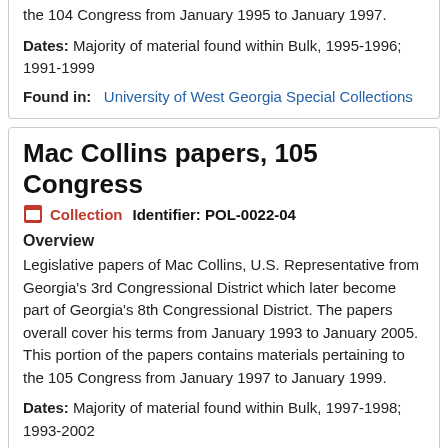the 104 Congress from January 1995 to January 1997.
Dates: Majority of material found within Bulk, 1995-1996; 1991-1999
Found in: University of West Georgia Special Collections
Mac Collins papers, 105 Congress
Collection   Identifier: POL-0022-04
Overview
Legislative papers of Mac Collins, U.S. Representative from Georgia's 3rd Congressional District which later become part of Georgia's 8th Congressional District. The papers overall cover his terms from January 1993 to January 2005. This portion of the papers contains materials pertaining to the 105 Congress from January 1997 to January 1999.
Dates: Majority of material found within Bulk, 1997-1998; 1993-2002